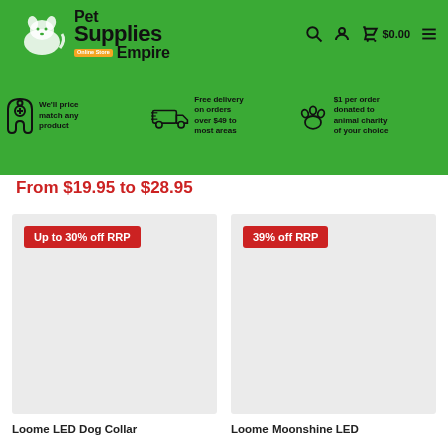[Figure (logo): Pet Supplies Empire logo with cat and dog silhouette, green background, orange 'Online Store' badge]
$0.00
We'll price match any product
Free delivery on orders over $49 to most areas
$1 per order donated to animal charity of your choice
From $19.95 to $28.95
[Figure (photo): Product image placeholder with 'Up to 30% off RRP' red badge]
[Figure (photo): Product image placeholder with '39% off RRP' red badge]
Loome LED Dog Collar
Loome Moonshine LED